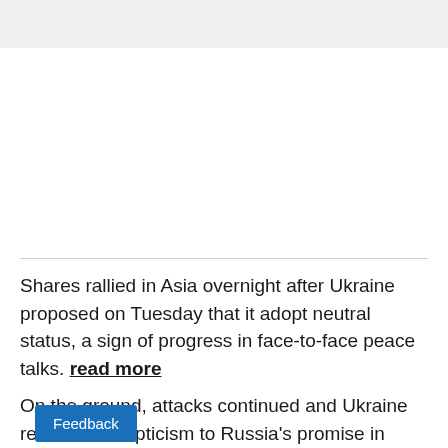Shares rallied in Asia overnight after Ukraine proposed on Tuesday that it adopt neutral status, a sign of progress in face-to-face peace talks. read more
On the ground, attacks continued and Ukraine rea scepticism to Russia's promise in